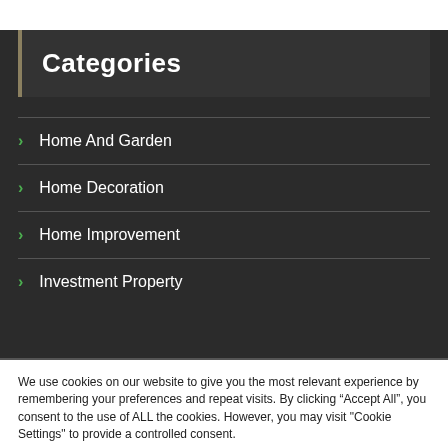Categories
Home And Garden
Home Decoration
Home Improvement
Investment Property
We use cookies on our website to give you the most relevant experience by remembering your preferences and repeat visits. By clicking “Accept All”, you consent to the use of ALL the cookies. However, you may visit "Cookie Settings" to provide a controlled consent.
Cookie Settings | Accept All